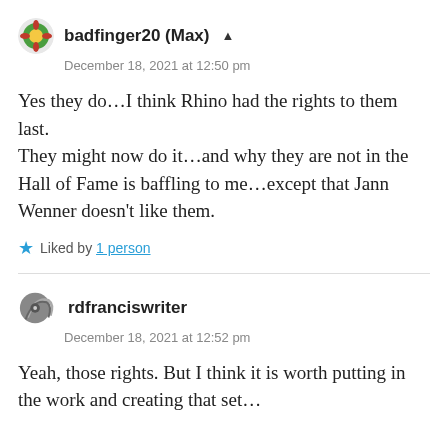badfinger20 (Max)
December 18, 2021 at 12:50 pm
Yes they do…I think Rhino had the rights to them last.
They might now do it…and why they are not in the Hall of Fame is baffling to me…except that Jann Wenner doesn't like them.
Liked by 1 person
rdfranciswriter
December 18, 2021 at 12:52 pm
Yeah, those rights. But I think it is worth putting in the work and creating that set…